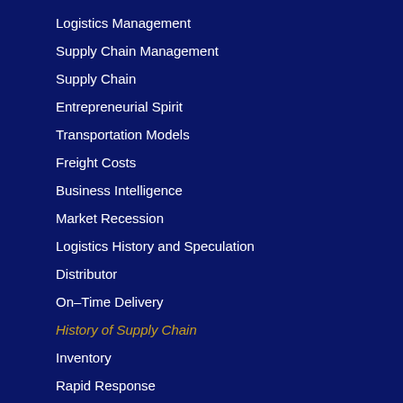Logistics Management
Supply Chain Management
Supply Chain
Entrepreneurial Spirit
Transportation Models
Freight Costs
Business Intelligence
Market Recession
Logistics History and Speculation
Distributor
On-Time Delivery
History of Supply Chain
Inventory
Rapid Response
Retail
3PL
Consumer Goods
Pricing